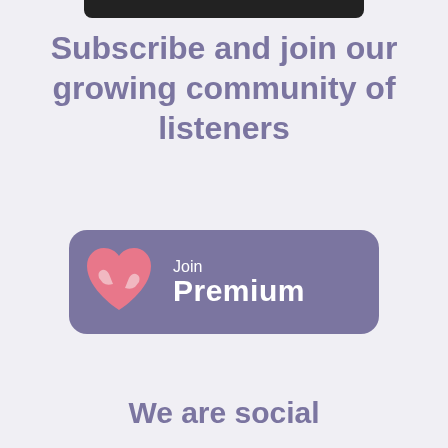[Figure (screenshot): Dark top bar element (phone notch or app header bar)]
Subscribe and join our growing community of listeners
[Figure (illustration): Join Premium button with purple rounded rectangle background, pink heart icon with hugging hands, text 'Join' above 'Premium' in white bold font]
We are social